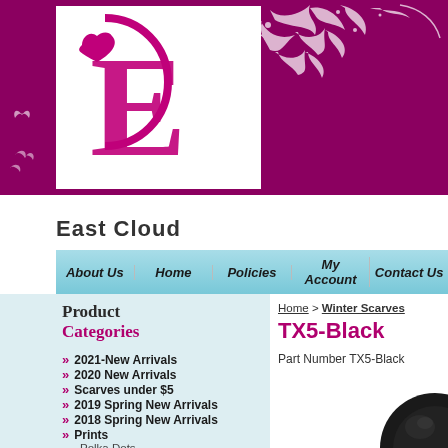[Figure (logo): East Cloud logo with decorative E and heart, white box on magenta/purple background with floral swirl decoration]
East Cloud
About Us | Home | Policies | My Account | Contact Us
Product Categories
2021-New Arrivals
2020 New Arrivals
Scarves under $5
2019 Spring New Arrivals
2018 Spring New Arrivals
Prints
Polka Dots
Animal Prints
Floral Prints
Home > Winter Scarves
TX5-Black
Part Number TX5-Black
[Figure (photo): Partial view of a black winter scarf/hat product in bottom right corner]